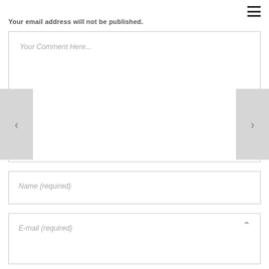[Figure (other): Hamburger menu icon (three horizontal lines) in the top right corner]
Your email address will not be published.
Your Comment Here...
[Figure (other): Left navigation arrow button (gray background with left-pointing chevron)]
[Figure (other): Right navigation arrow button (gray background with right-pointing chevron)]
Name (required)
E-mail (required)